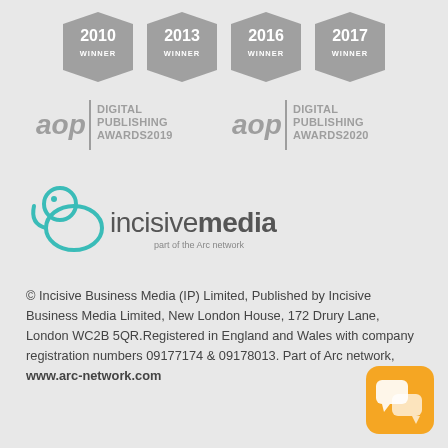[Figure (logo): Four award badges for years 2010, 2013, 2016, 2017, each hexagonal/shield shaped in grey with WINNER text]
[Figure (logo): Two AOP Digital Publishing Awards logos: one for 2019 and one for 2020, both in grey]
[Figure (logo): Incisive Media logo with frog/tadpole teal graphic and text 'incisivemedia part of the Arc network']
© Incisive Business Media (IP) Limited, Published by Incisive Business Media Limited, New London House, 172 Drury Lane, London WC2B 5QR.Registered in England and Wales with company registration numbers 09177174 & 09178013. Part of Arc network, www.arc-network.com
[Figure (illustration): Orange rounded square chat/messenger icon in bottom right corner]